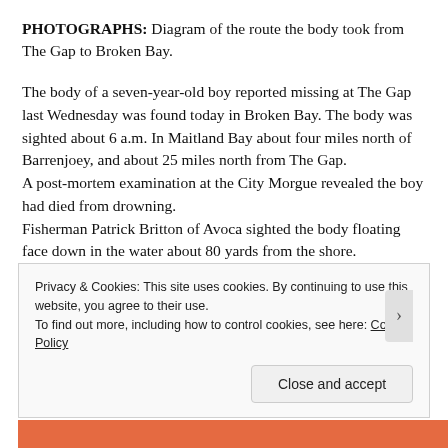PHOTOGRAPHS: Diagram of the route the body took from The Gap to Broken Bay.
The body of a seven-year-old boy reported missing at The Gap last Wednesday was found today in Broken Bay. The body was sighted about 6 a.m. In Maitland Bay about four miles north of Barrenjoey, and about 25 miles north from The Gap.
A post-mortem examination at the City Morgue revealed the boy had died from drowning.
Fisherman Patrick Britton of Avoca sighted the body floating face down in the water about 80 yards from the shore.
Privacy & Cookies: This site uses cookies. By continuing to use this website, you agree to their use.
To find out more, including how to control cookies, see here: Cookie Policy